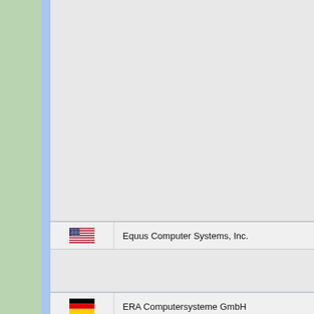| Flag | Company Name |
| --- | --- |
| [empty row] |  |
| USA flag | Equus Computer Systems, Inc. |
| [empty row] |  |
| Germany flag | ERA Computersysteme GmbH |
| Unknown flag | Ergo |
| [empty row] |  |
| USA flag | Ergo Computing, Inc. |
| HK/red flag | Ergo Systems International Ltd. |